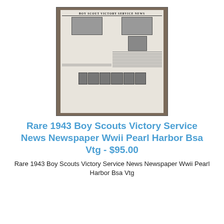[Figure (photo): Photo of a 1943 Boy Scout Victory Service News newspaper laid flat on a wooden surface, showing the front page with headline 'BOY SCOUT VICTORY SERVICE NEWS' and multiple black-and-white photographs of people.]
Rare 1943 Boy Scouts Victory Service News Newspaper Wwii Pearl Harbor Bsa Vtg - $95.00
Rare 1943 Boy Scouts Victory Service News Newspaper Wwii Pearl Harbor Bsa Vtg